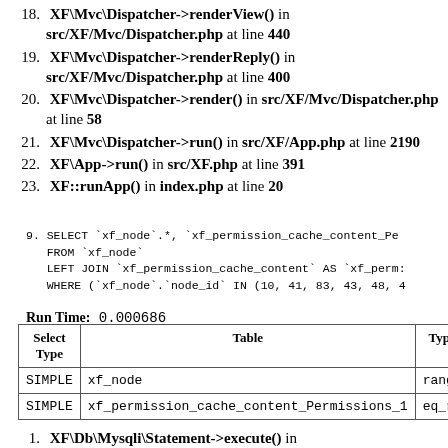18. XF\Mvc\Dispatcher->renderView() in src/XF/Mvc/Dispatcher.php at line 440
19. XF\Mvc\Dispatcher->renderReply() in src/XF/Mvc/Dispatcher.php at line 400
20. XF\Mvc\Dispatcher->render() in src/XF/Mvc/Dispatcher.php at line 58
21. XF\Mvc\Dispatcher->run() in src/XF/App.php at line 2190
22. XF\App->run() in src/XF.php at line 391
23. XF::runApp() in index.php at line 20
9. SELECT `xf_node`.*, `xf_permission_cache_content_Pe
   FROM `xf_node`
   LEFT JOIN `xf_permission_cache_content` AS `xf_perm:
   WHERE (`xf_node`.`node_id` IN (10, 41, 83, 43, 48, 4
Run Time: 0.000686
| Select Type | Table | Type |
| --- | --- | --- |
| SIMPLE | xf_node | range |
| SIMPLE | xf_permission_cache_content_Permissions_1 | eq_re |
1. XF\Db\Mysqli\Statement->execute() in